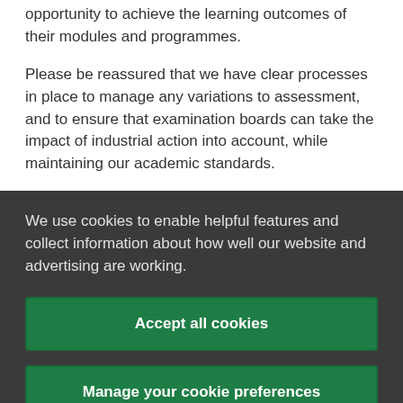opportunity to achieve the learning outcomes of their modules and programmes.
Please be reassured that we have clear processes in place to manage any variations to assessment, and to ensure that examination boards can take the impact of industrial action into account, while maintaining our academic standards.
We use cookies to enable helpful features and collect information about how well our website and advertising are working.
Accept all cookies
Manage your cookie preferences